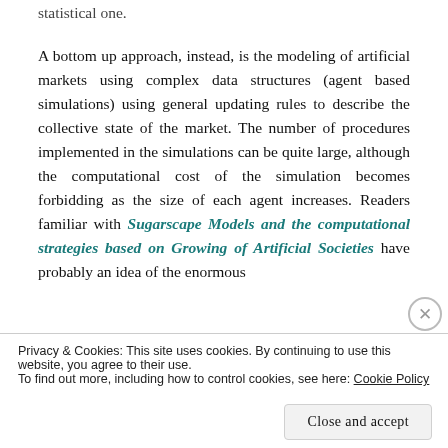statistical one.
A bottom up approach, instead, is the modeling of artificial markets using complex data structures (agent based simulations) using general updating rules to describe the collective state of the market. The number of procedures implemented in the simulations can be quite large, although the computational cost of the simulation becomes forbidding as the size of each agent increases. Readers familiar with Sugarscape Models and the computational strategies based on Growing of Artificial Societies have probably an idea of the enormous
Privacy & Cookies: This site uses cookies. By continuing to use this website, you agree to their use.
To find out more, including how to control cookies, see here: Cookie Policy
Close and accept